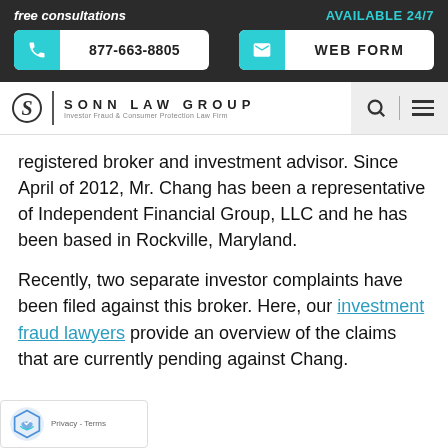free consultations   AVAILABLE 24/7   877-663-8805   WEB FORM
[Figure (logo): Sonn Law Group logo with S emblem and tagline: Investor Fraud & Consumer Protection Law Firm]
registered broker and investment advisor. Since April of 2012, Mr. Chang has been a representative of Independent Financial Group, LLC and he has been based in Rockville, Maryland.
Recently, two separate investor complaints have been filed against this broker. Here, our investment fraud lawyers provide an overview of the claims that are currently pending against Chang.